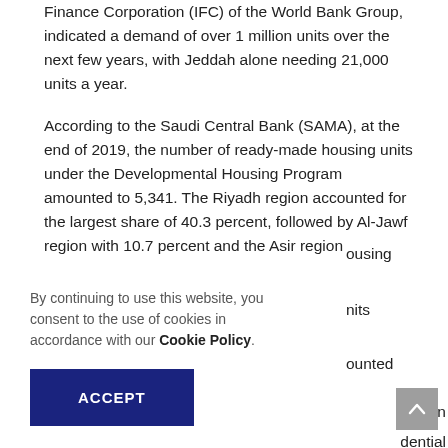Finance Corporation (IFC) of the World Bank Group, indicated a demand of over 1 million units over the next few years, with Jeddah alone needing 21,000 units a year.
According to the Saudi Central Bank (SAMA), at the end of 2019, the number of ready-made housing units under the Developmental Housing Program amounted to 5,341. The Riyadh region accounted for the largest share of 40.3 percent, followed by Al-Jawf region with 10.7 percent and the Asir region [housing] [units] [ounted] [on. In] [dential]
By continuing to use this website, you consent to the use of cookies in accordance with our Cookie Policy.
ACCEPT